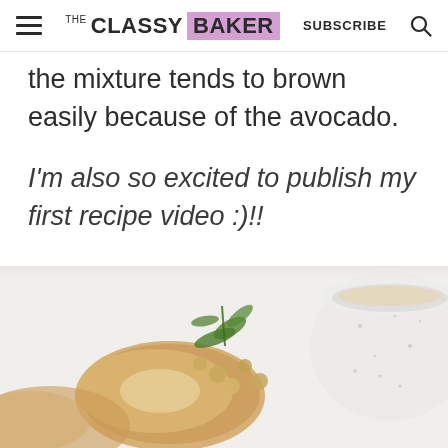THE CLASSY BAKER | SUBSCRIBE
the mixture tends to brown easily because of the avocado.
I'm also so excited to publish my first recipe video :)!!
[Figure (photo): Food photo showing crackers/bread with toppings including greens and chickpeas, with a speckled white bowl in the upper right corner, on a white background.]